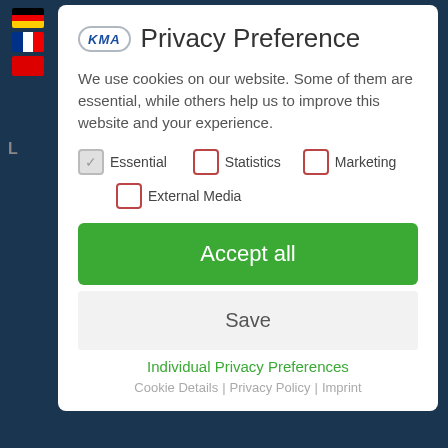Privacy Preference
We use cookies on our website. Some of them are essential, while others help us to improve this website and your experience.
Essential (checked)
Statistics (unchecked)
Marketing (unchecked)
External Media (unchecked)
Accept all
Save
Individual Privacy Preferences
Cookie Details | Privacy Policy | Imprint